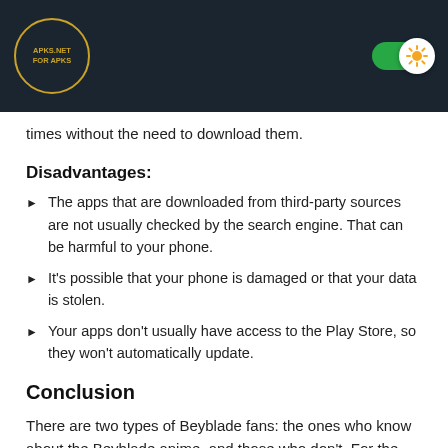APKS.NET FOR APKS (logo) / toggle
times without the need to download them.
Disadvantages:
The apps that are downloaded from third-party sources are not usually checked by the search engine. That can be harmful to your phone.
It's possible that your phone is damaged or that your data is stolen.
Your apps don't usually have access to the Play Store, so they won't automatically update.
Conclusion
There are two types of Beyblade fans: the ones who know about the Beyblade anime, and those who don't. For the latter, this game is a great gateway into the world of the Beyblade…